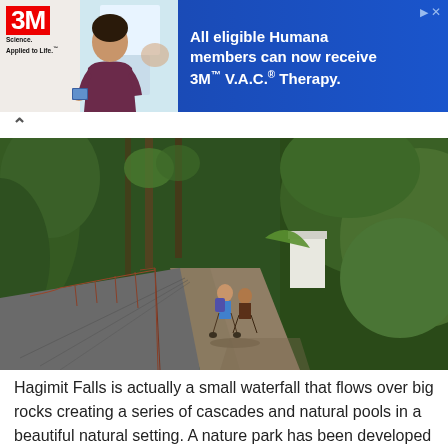[Figure (infographic): 3M advertisement banner with blue gradient background. Left side shows a nurse in scrubs holding medical equipment. Right side has white text: 'All eligible Humana members can now receive 3M™ V.A.C.® Therapy.' The 3M logo appears on the left with tagline 'Science. Applied to Life.' Close/skip button at top right.]
[Figure (photo): Outdoor photograph of a jungle path with concrete steps/walkway on the left side lined with a rusty metal railing. Lush green tropical vegetation on both sides. Two people walking ahead on the dirt path. A white building is partially visible on the right. Dense green hillside covered in foliage on the far right.]
Hagimit Falls is actually a small waterfall that flows over big rocks creating a series of cascades and natural pools in a beautiful natural setting. A nature park has been developed